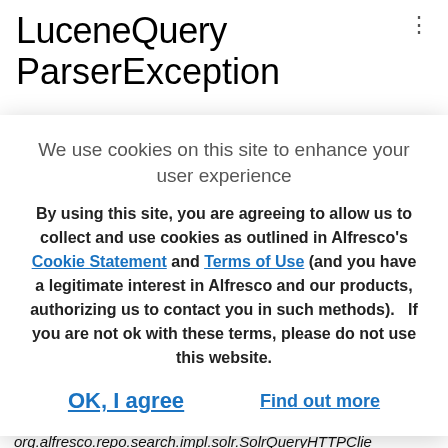LuceneQuery
ParserException
We use cookies on this site to enhance your user experience
By using this site, you are agreeing to allow us to collect and use cookies as outlined in Alfresco's Cookie Statement and Terms of Use (and you have a legitimate interest in Alfresco and our products, authorizing us to contact you in such methods).   If you are not ok with these terms, please do not use this website.
OK, I agree    Find out more
org.alfresco.repo.search.impl.lucene.LuceneQueryParserException: 03150745
at
org.alfresco.repo.search.impl.solr.SolrQueryHTTPClient.executeQuery(SolrQueryHTTPClient.java:591)
at
org.alfresco.repo.search.impl.solr.SolrQueryLanguage